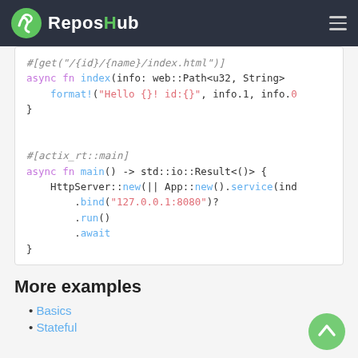ReposHub
[Figure (screenshot): Code block showing Rust actix-web code with get macro, index function, and main function with HttpServer setup]
More examples
Basics
Stateful